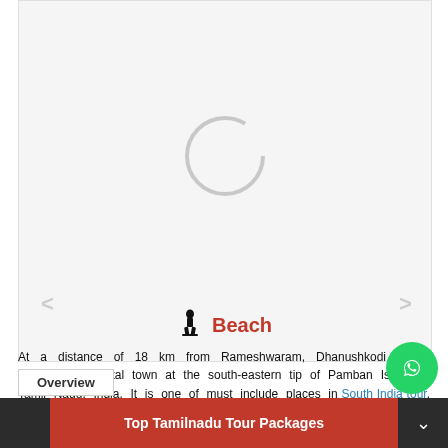[Figure (photo): Loading image placeholder with spinner circle, part of a travel webpage showing Dhanushkodi beach]
Beach
At a distance of 18 km from Rameshwaram, Dhanushkodi is an abandoned coastal town at the south-eastern tip of Pamban Island in Tamil Nadu, India. It is one of must include places in South India tour, and among the most famous Rameshwaram tourist places.
Dhanushkodi is on the tip of Pamban island, separated from the mainland by the Palk Strait. The town is named after Rama's bow. The boulders around the sea between Srilanka and this place known as Adam's bridge, are believed to be used by Hanuman to reach across
Overview
Top Tamilnadu Tour Packages